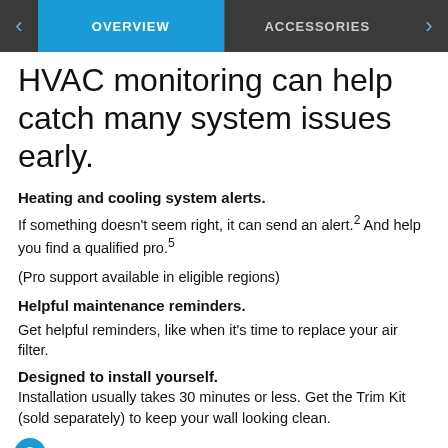OVERVIEW | ACCESSORIES
HVAC monitoring can help catch many system issues early.
Heating and cooling system alerts.
If something doesn't seem right, it can send an alert.2 And help you find a qualified pro.5
(Pro support available in eligible regions)
Helpful maintenance reminders.
Get helpful reminders, like when it's time to replace your air filter.
Designed to install yourself.
Installation usually takes 30 minutes or less. Get the Trim Kit (sold separately) to keep your wall looking clean.